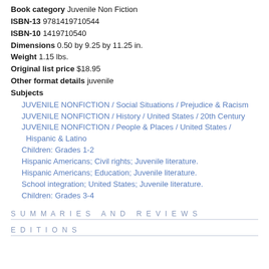Book category Juvenile Non Fiction
ISBN-13 9781419710544
ISBN-10 1419710540
Dimensions 0.50 by 9.25 by 11.25 in.
Weight 1.15 lbs.
Original list price $18.95
Other format details juvenile
Subjects
JUVENILE NONFICTION / Social Situations / Prejudice & Racism
JUVENILE NONFICTION / History / United States / 20th Century
JUVENILE NONFICTION / People & Places / United States / Hispanic & Latino
Children: Grades 1-2
Hispanic Americans; Civil rights; Juvenile literature.
Hispanic Americans; Education; Juvenile literature.
School integration; United States; Juvenile literature.
Children: Grades 3-4
SUMMARIES AND REVIEWS
EDITIONS